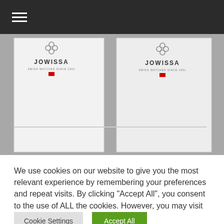☰ (hamburger menu navigation bar)
[Figure (photo): Two white Jowissa watch boxes with the Jowissa logo and Swiss flag emblem on dark grey background]
We use cookies on our website to give you the most relevant experience by remembering your preferences and repeat visits. By clicking "Accept All", you consent to the use of ALL the cookies. However, you may visit "Cookie Settings" to provide a controlled consent.
Cookie Settings | Accept All